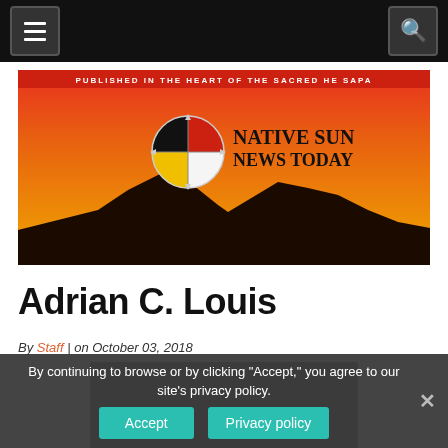Navigation bar with hamburger menu and search icon
[Figure (illustration): Native Sun News Today banner: orange-red gradient sky, black mountain silhouette, compass-style circular logo with four quadrants (black, red, yellow, white), text NATIVE SUN NEWS TODAY in bold serif, tagline PUBLISHED IN THE HEART OF THE SACRED HE SAPA on red bar at top]
Adrian C. Louis
By Staff | on October 03, 2018
By continuing to browse or by clicking "Accept," you agree to our site's privacy policy.
Accept  Privacy policy